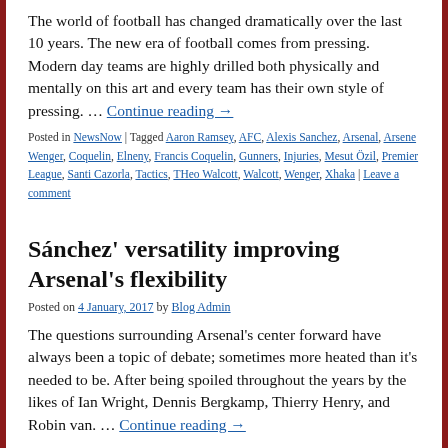The world of football has changed dramatically over the last 10 years. The new era of football comes from pressing. Modern day teams are highly drilled both physically and mentally on this art and every team has their own style of pressing. … Continue reading →
Posted in NewsNow | Tagged Aaron Ramsey, AFC, Alexis Sanchez, Arsenal, Arsene Wenger, Coquelin, Elneny, Francis Coquelin, Gunners, Injuries, Mesut Özil, Premier League, Santi Cazorla, Tactics, THeo Walcott, Walcott, Wenger, Xhaka | Leave a comment
Sánchez' versatility improving Arsenal's flexibility
Posted on 4 January, 2017 by Blog Admin
The questions surrounding Arsenal's center forward have always been a topic of debate; sometimes more heated than it's needed to be. After being spoiled throughout the years by the likes of Ian Wright, Dennis Bergkamp, Thierry Henry, and Robin van. … Continue reading →